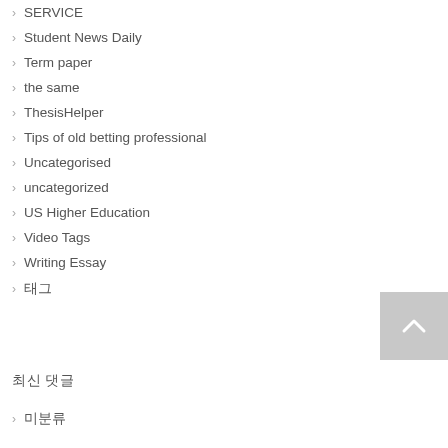SERVICE
Student News Daily
Term paper
the same
ThesisHelper
Tips of old betting professional
Uncategorised
uncategorized
US Higher Education
Video Tags
Writing Essay
태그
최신 댓글
미분류